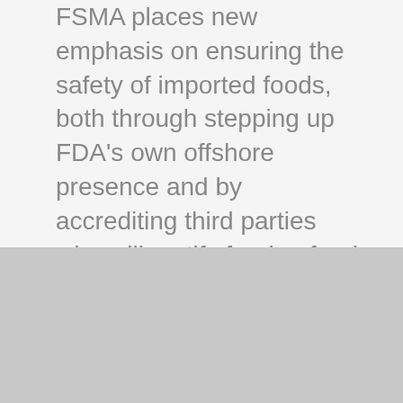FSMA places new emphasis on ensuring the safety of imported foods, both through stepping up FDA's own offshore presence and by accrediting third parties who will certify foreign food facilities' safety. Regulations to implement FSMA, filling hundreds of pages in the Federal Register, became final in 2015.
We use cookies on our website to give you the most relevant experience by remembering your preferences. By clicking “Accept”, you consent to our Privacy Policy and the use of cookies.
Cookie settings
ACCEPT